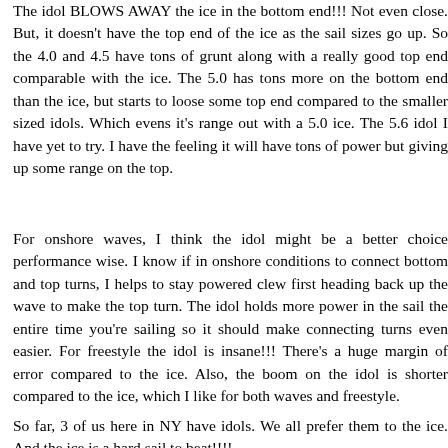The idol BLOWS AWAY the ice in the bottom end!!! Not even close. But, it doesn't have the top end of the ice as the sail sizes go up. So the 4.0 and 4.5 have tons of grunt along with a really good top end comparable with the ice. The 5.0 has tons more on the bottom end than the ice, but starts to loose some top end compared to the smaller sized idols. Which evens it's range out with a 5.0 ice. The 5.6 idol I have yet to try. I have the feeling it will have tons of power but giving up some range on the top.
For onshore waves, I think the idol might be a better choice performance wise. I know if in onshore conditions to connect bottom and top turns, I helps to stay powered clew first heading back up the wave to make the top turn. The idol holds more power in the sail the entire time you're sailing so it should make connecting turns even easier. For freestyle the idol is insane!!! There's a huge margin of error compared to the ice. Also, the boom on the idol is shorter compared to the ice, which I like for both waves and freestyle.
So far, 3 of us here in NY have idols. We all prefer them to the ice. And the ice is a hard sail to beat!!!!